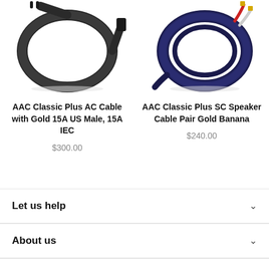[Figure (photo): Photo of AAC Classic Plus AC Cable with Gold 15A US Male, 15A IEC - a coiled black power cable]
[Figure (photo): Photo of AAC Classic Plus SC Speaker Cable Pair Gold Banana - a coiled dark navy blue speaker cable with gold banana connectors and red/white wire ends]
AAC Classic Plus AC Cable with Gold 15A US Male, 15A IEC
$300.00
AAC Classic Plus SC Speaker Cable Pair Gold Banana
$240.00
Let us help
About us